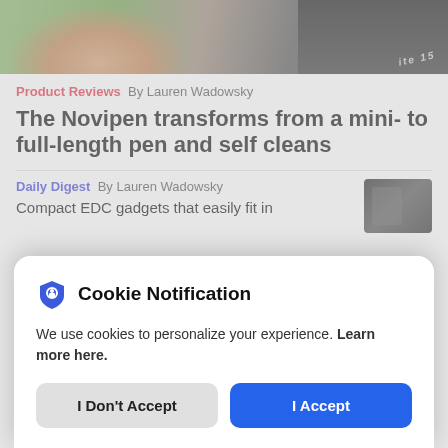[Figure (photo): Close-up photo of a hand holding a pen/stylus device against a dark background with partial brand text visible]
Product Reviews  By Lauren Wadowsky
The Novipen transforms from a mini- to full-length pen and self cleans
Daily Digest  By Lauren Wadowsky
Compact EDC gadgets that easily fit in
[Figure (photo): Thumbnail photo of a person in dark jacket holding a device]
Cookie Notification
We use cookies to personalize your experience. Learn more here.
I Don't Accept  I Accept